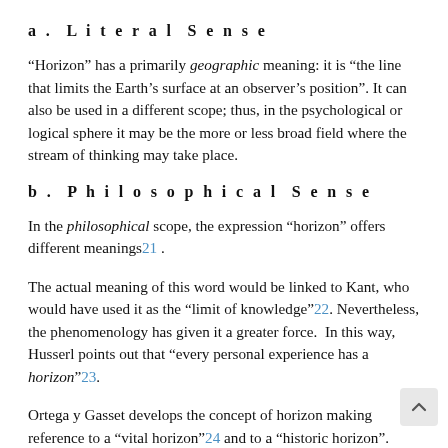a. Literal Sense
“Horizon” has a primarily geographic meaning: it is “the line that limits the Earth’s surface at an observer’s position”. It can also be used in a different scope; thus, in the psychological or logical sphere it may be the more or less broad field where the stream of thinking may take place.
b. Philosophical Sense
In the philosophical scope, the expression “horizon” offers different meanings21 .
The actual meaning of this word would be linked to Kant, who would have used it as the “limit of knowledge”22. Nevertheless, the phenomenology has given it a greater force.  In this way, Husserl points out that “every personal experience has a horizon”23.
Ortega y Gasset develops the concept of horizon making reference to a “vital horizon”24 and to a “historic horizon”. When interpreting the circumstance